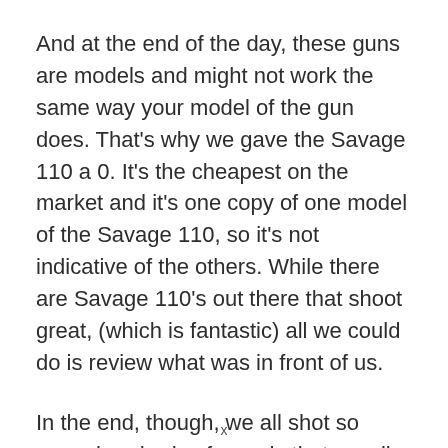And at the end of the day, these guns are models and might not work the same way your model of the gun does. That's why we gave the Savage 110 a 0. It's the cheapest on the market and it's one copy of one model of the Savage 110, so it's not indicative of the others. While there are Savage 110's out there that shoot great, (which is fantastic) all we could do is review what was in front of us.
In the end, though, we all shot so many hundreds of rounds that we all felt like we gave each gun a fair chance at proving itself.
x